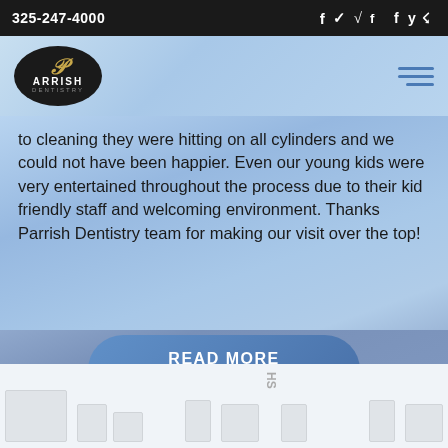325-247-4000
[Figure (logo): Parrish Dentistry oval logo with script P and PARRISH text on dark background]
to cleaning they were hitting on all cylinders and we could not have been happier. Even our young kids were very entertained throughout the process due to their kid friendly staff and welcoming environment. Thanks Parrish Dentistry team for making our visit over the top!
READ MORE TESTIMONIALS
[Figure (screenshot): Bottom area showing card/thumbnail placeholders on light background]